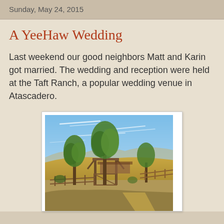Sunday, May 24, 2015
A YeeHaw Wedding
Last weekend our good neighbors Matt and Karin got married. The wedding and reception were held at the Taft Ranch, a popular wedding venue in Atascadero.
[Figure (photo): Outdoor photo of Taft Ranch wedding venue in Atascadero, showing trees, a wooden gate/arbor structure, fencing, a dirt path, and golden hillside under a blue sky with wispy clouds.]